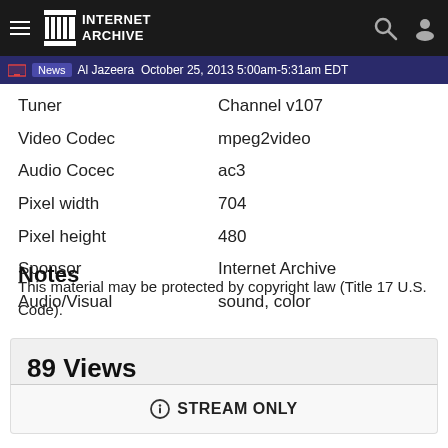Internet Archive
News Al Jazeera October 25, 2013 5:00am-5:31am EDT
| Field | Value |
| --- | --- |
| Tuner | Channel v107 |
| Video Codec | mpeg2video |
| Audio Cocec | ac3 |
| Pixel width | 704 |
| Pixel height | 480 |
| Sponsor | Internet Archive |
| Audio/Visual | sound, color |
Notes
This material may be protected by copyright law (Title 17 U.S. Code).
89 Views
STREAM ONLY